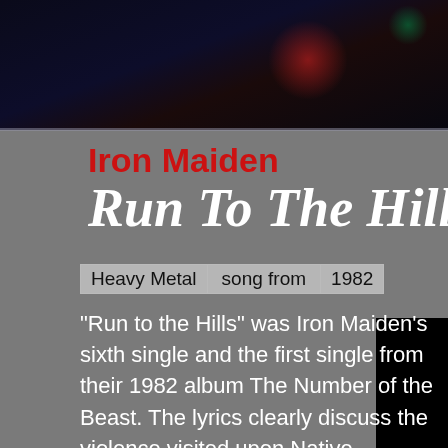[Figure (photo): Dark banner background with bokeh lights, red and green lens flares]
Iron Maiden
Run To The Hills
Heavy Metal   song from   1982
"Run to the Hills" was Iron Maiden's sixth single and the first single from their 1982 album The Number of the Beast. The lyrics clearly discuss the violence visited upon Native Americans in the Nineteenth Century. Several lines appear to address the Sioux Wars, a conflict between the Lakota people and the United States in the Dakotas. The song may also allude to the 'Trail of Tears' occurring during